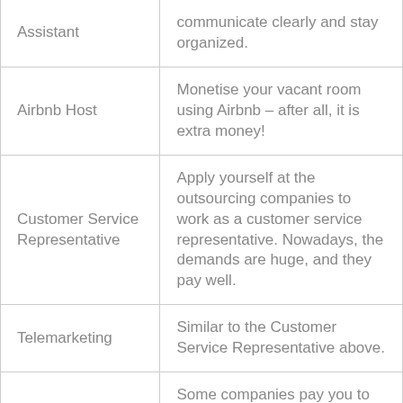| Role | Description |
| --- | --- |
| Assistant | communicate clearly and stay organized. |
| Airbnb Host | Monetise your vacant room using Airbnb – after all, it is extra money! |
| Customer Service Representative | Apply yourself at the outsourcing companies to work as a customer service representative. Nowadays, the demands are huge, and they pay well. |
| Telemarketing | Similar to the Customer Service Representative above. |
|  | Some companies pay you to take surveys |